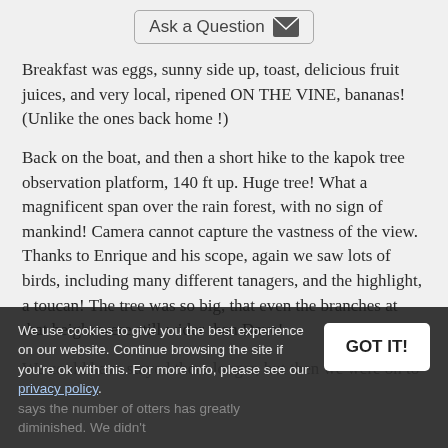Ask a Question
Breakfast was eggs, sunny side up, toast, delicious fruit juices, and very local, ripened ON THE VINE, bananas! (Unlike the ones back home !)
Back on the boat, and then a short hike to the kapok tree observation platform, 140 ft up. Huge tree! What a magnificent span over the rain forest, with no sign of mankind! Camera cannot capture the vastness of the view. Thanks to Enrique and his scope, again we saw lots of birds, including many different tanagers, and the highlight, a toucan! The tree was so big, that even the branches at that height were still wider than Dave!
We could have stayed there longer, but then we were on to
We use cookies to give you the best experience on our website. Continue browsing the site if you're ok with this. For more info, please see our privacy policy.
says the number of otters has greatly diminished. We didn't